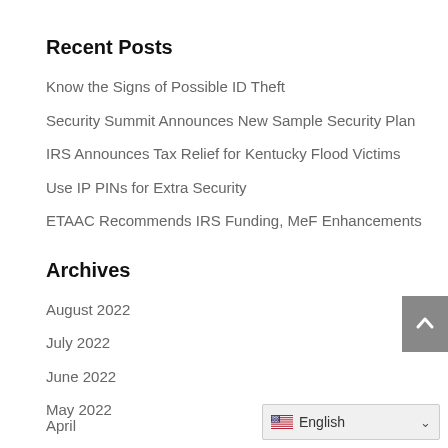Recent Posts
Know the Signs of Possible ID Theft
Security Summit Announces New Sample Security Plan
IRS Announces Tax Relief for Kentucky Flood Victims
Use IP PINs for Extra Security
ETAAC Recommends IRS Funding, MeF Enhancements
Archives
August 2022
July 2022
June 2022
May 2022
April